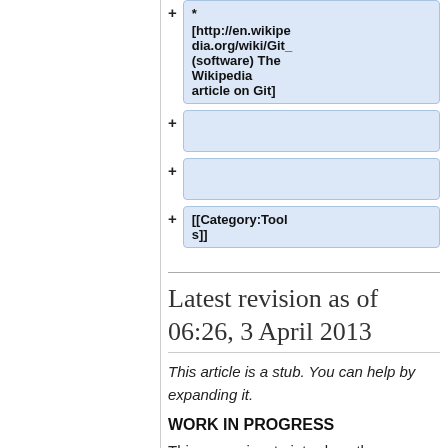* [http://en.wikipedia.org/wiki/Git_(software) The Wikipedia article on Git]
[[Category:Tools]]
Latest revision as of 06:26, 3 April 2013
This article is a stub. You can help by expanding it.
WORK IN PROGRESS
This page aims to introduce the